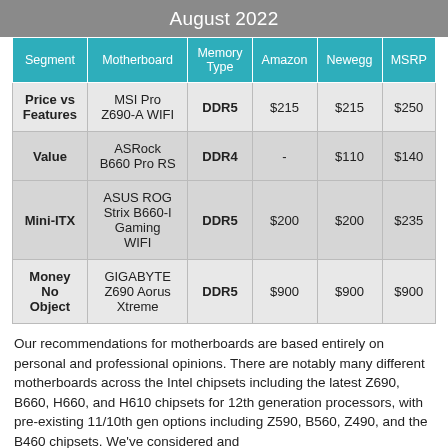August 2022
| Segment | Motherboard | Memory Type | Amazon | Newegg | MSRP |
| --- | --- | --- | --- | --- | --- |
| Price vs Features | MSI Pro Z690-A WIFI | DDR5 | $215 | $215 | $250 |
| Value | ASRock B660 Pro RS | DDR4 | - | $110 | $140 |
| Mini-ITX | ASUS ROG Strix B660-I Gaming WIFI | DDR5 | $200 | $200 | $235 |
| Money No Object | GIGABYTE Z690 Aorus Xtreme | DDR5 | $900 | $900 | $900 |
Our recommendations for motherboards are based entirely on personal and professional opinions. There are notably many different motherboards across the Intel chipsets including the latest Z690, B660, H660, and H610 chipsets for 12th generation processors, with pre-existing 11/10th gen options including Z590, B560, Z490, and the B460 chipsets. We've considered and